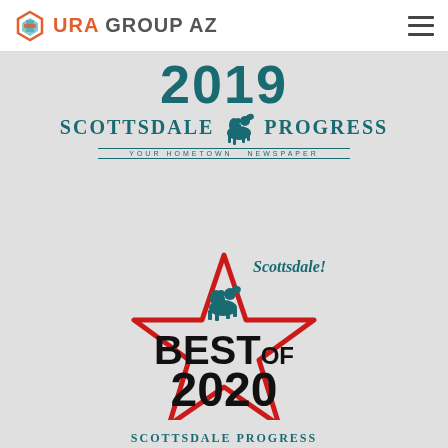URA GROUP AZ
[Figure (logo): Scottsdale Progress 2019 award badge with logo, horse mascot, and tagline 'Your Hometown Newspaper']
[Figure (logo): Scottsdale Best of 2020 award badge with red star outline, horse mascot, script 'Scottsdale!', bold 'BEST OF 2020' and 'SCOTTSDALE PROGRESS' text]